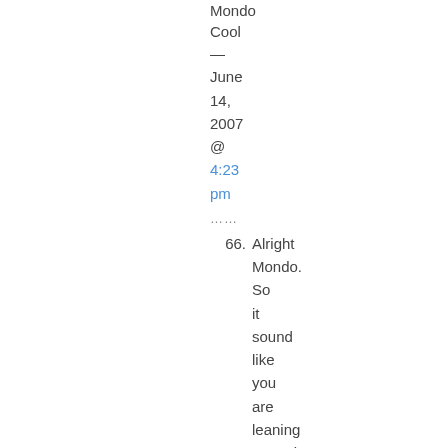Mondo Cool — June 14, 2007 @ 4:23 pm
......
66. Alright Mondo. So it sound like you are leaning toward (1) instead of (3). Whereas we must